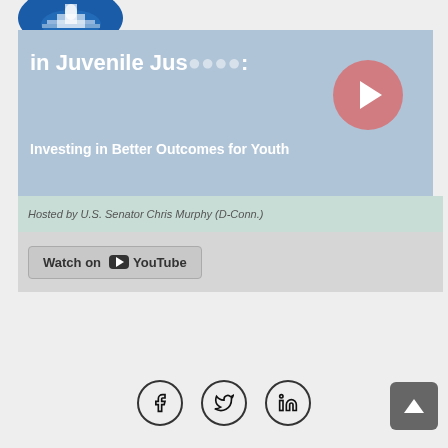[Figure (logo): Circular blue logo with Capitol building illustration]
[Figure (screenshot): YouTube video thumbnail for 'Evidence-Based Practices in Juvenile Justice: Investing in Better Outcomes for Youth', hosted by U.S. Senator Chris Murphy (D-Conn.), with YouTube play button overlay and 'Watch on YouTube' button]
Hosted by U.S. Senator Chris Murphy (D-Conn.)
[Figure (infographic): Social media share icons: Facebook, Twitter, LinkedIn in circular outlines]
[Figure (other): Back to top button (upward arrow on grey rounded square)]